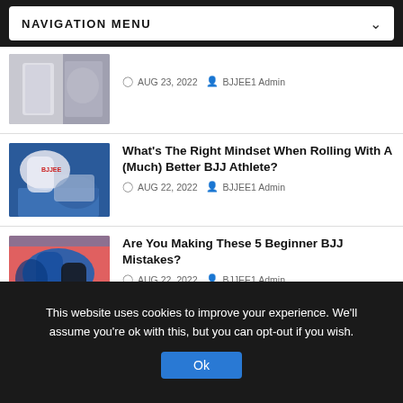NAVIGATION MENU
[Figure (photo): BJJ athletes in white gi uniforms, partial view, date AUG 23, 2022 by BJJEE1 Admin]
AUG 23, 2022  BJJEE1 Admin
[Figure (photo): BJJ athlete in white gi grappling on the mat]
What's The Right Mindset When Rolling With A (Much) Better BJJ Athlete?
AUG 22, 2022  BJJEE1 Admin
[Figure (photo): BJJ athletes in blue and black gi competing on pink mat]
Are You Making These 5 Beginner BJJ Mistakes?
AUG 22, 2022  BJJEE1 Admin
This website uses cookies to improve your experience. We'll assume you're ok with this, but you can opt-out if you wish.